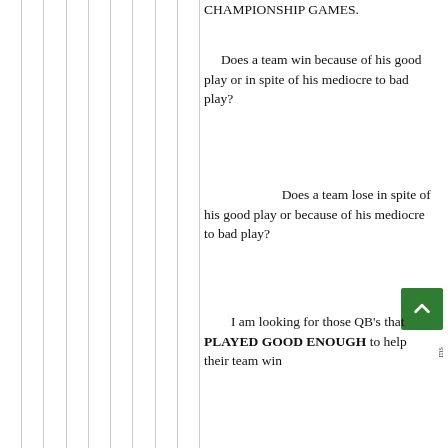CHAMPIONSHIP GAMES.
Does a team win because of his good play or in spite of his mediocre to bad play?
Does a team lose in spite of his good play or because of his mediocre to bad play?
I am looking for those QB's that PLAYED GOOD ENOUGH to help their team win